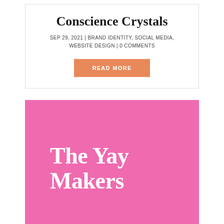Conscience Crystals
SEP 29, 2021 | BRAND IDENTITY, SOCIAL MEDIA, WEBSITE DESIGN | 0 COMMENTS
READ MORE
[Figure (logo): The Yay Makers logo in white bold serif text on a pink background]